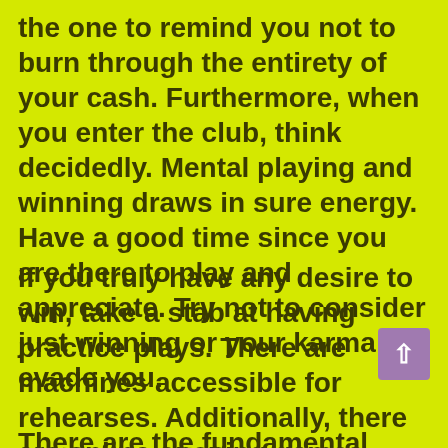the one to remind you not to burn through the entirety of your cash. Furthermore, when you enter the club, think decidedly. Mental playing and winning draws in sure energy. Have a good time since you are there to play and appreciate. Try not to consider just winning or your karma will evade you.
If you truly have any desire to win, take a stab at having practice plays. There are machines accessible for rehearses. Additionally, there are online opening games which you might use for training. Foster your own methods.
There are the fundamental things you really